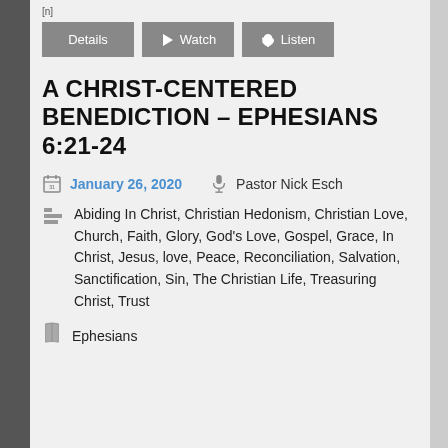[n]
Details | Watch | Listen
A CHRIST-CENTERED BENEDICTION – EPHESIANS 6:21-24
January 26, 2020   Pastor Nick Esch
Abiding In Christ, Christian Hedonism, Christian Love, Church, Faith, Glory, God's Love, Gospel, Grace, In Christ, Jesus, love, Peace, Reconciliation, Salvation, Sanctification, Sin, The Christian Life, Treasuring Christ, Trust
Ephesians